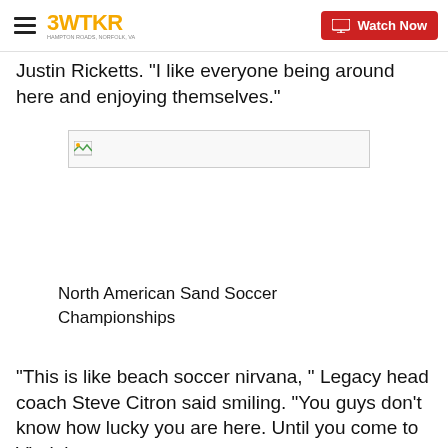3WTKR | Watch Now
Justin Ricketts. "I like everyone being around here and enjoying themselves."
[Figure (photo): Broken image placeholder with small image icon]
North American Sand Soccer Championships
"This is like beach soccer nirvana, " Legacy head coach Steve Citron said smiling. "You guys don't know how lucky you are here. Until you come to Virginia